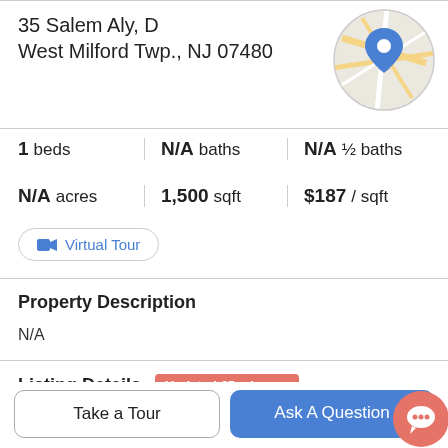35 Salem Aly, D
West Milford Twp., NJ 07480
[Figure (map): Circular map thumbnail with location pin marker showing a street map]
1 beds | N/A baths | N/A ½ baths
N/A acres | 1,500 sqft | $187 / sqft
Virtual Tour
Property Description
N/A
Listing Details
Updated 65 min ago
Take a Tour
Ask A Question